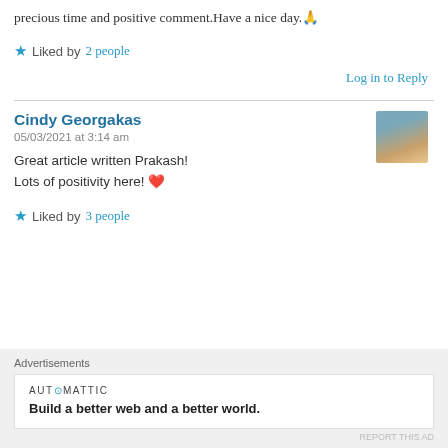precious time and positive comment.Have a nice day.🙏
★ Liked by 2 people
Log in to Reply
Cindy Georgakas
05/03/2021 at 3:14 am
Great article written Prakash!
Lots of positivity here! ❤️
★ Liked by 3 people
Advertisements
AUT⊙MATTIC
Build a better web and a better world.